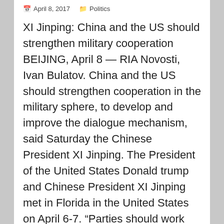April 8, 2017   Politics
XI Jinping: China and the US should strengthen military cooperation BEIJING, April 8 — RIA Novosti, Ivan Bulatov. China and the US should strengthen cooperation in the military sphere, to develop and improve the dialogue mechanism, said Saturday the Chinese President XI Jinping. The President of the United States Donald trump and Chinese President XI Jinping met in Florida in the United States on April 6-7. “Parties should work together to continuously strengthen mutual trust and military cooperation”, — quotes on Saturday, the Chinese foreign Ministry of the word, XI Jinping at the meeting with trump. According to the Chinese leader,